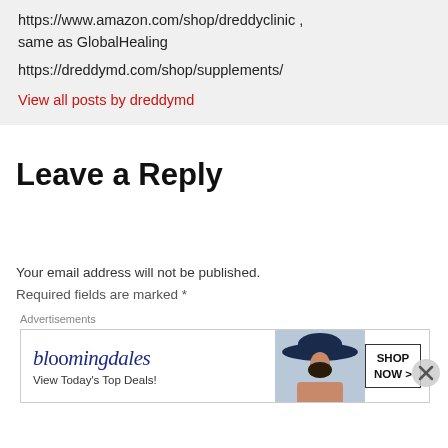https://www.amazon.com/shop/dreddyclinic , same as GlobalHealing https://dreddymd.com/shop/supplements/
View all posts by dreddymd
Leave a Reply
Your email address will not be published.
Required fields are marked *
[Figure (screenshot): Bloomingdale's advertisement banner: 'View Today's Top Deals!' with SHOP NOW > button and woman in wide-brim hat]